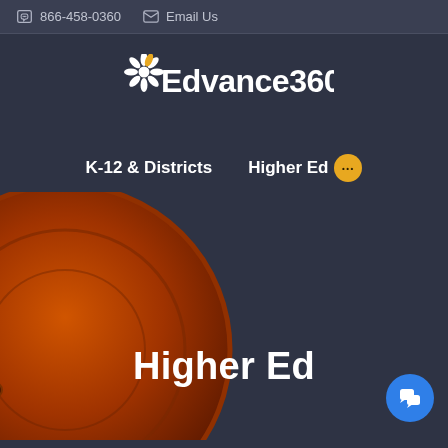866-458-0360  Email Us
[Figure (logo): Edvance360 logo with white stylized flower/sun and white text 'Edvance360']
K-12 & Districts    Higher Ed
[Figure (photo): Orange metallic circular object visible in lower-left corner of page, decorative background element]
Higher Ed
[Figure (other): Blue circular chat/messenger button in lower-right corner]